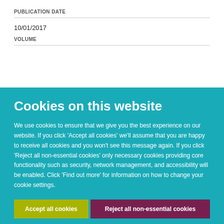PUBLICATION DATE
10/01/2017
VOLUME
Cookies on this website
We use cookies to ensure that we give you the best experience on our website. If you click 'Accept all cookies' we'll assume that you are happy to receive all cookies and you won't see this message again. If you click 'Reject all non-essential cookies' only necessary cookies providing core functionality such as security, network management, and accessibility will be enabled. Click 'Find out more' for information on how to change your cookie settings.
Accept all cookies
Reject all non-essential cookies